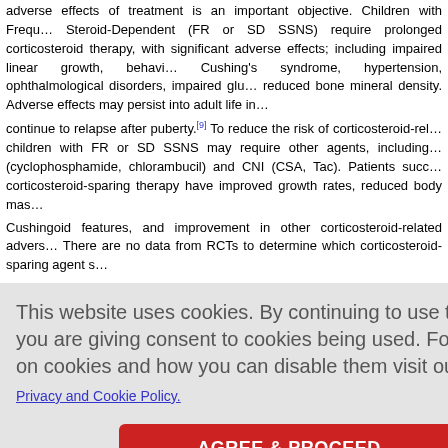adverse effects of treatment is an important objective. Children with Frequent-Relapsing or Steroid-Dependent (FR or SD SSNS) require prolonged corticosteroid therapy, which is associated with significant adverse effects; including impaired linear growth, behavioral abnormalities, Cushing's syndrome, hypertension, ophthalmological disorders, impaired glucose tolerance, and reduced bone mineral density. Adverse effects may persist into adult life in children who continue to relapse after puberty.[9] To reduce the risk of corticosteroid-related adverse effects, children with FR or SD SSNS may require other agents, including alkylating agents (cyclophosphamide, chlorambucil) and CNI (CSA, Tac). Patients successfully treated with corticosteroid-sparing therapy have improved growth rates, reduced body mass index, reduced Cushingoid features, and improvement in other corticosteroid-related adverse effects. There are no data from RCTs to determine which corticosteroid-sparing agent should be used as first-line treatment... ap and more... to be consi...
[Figure (screenshot): Cookie consent overlay popup with gray background, message about cookies, a Privacy and Cookie Policy link, and a red AGREE & PROCEED button.]
al gender di... nt in childre... anasarca a... Differential... ompared to... e prevalence... SRNS group could be explained by FSGS being more common etiology and lack...